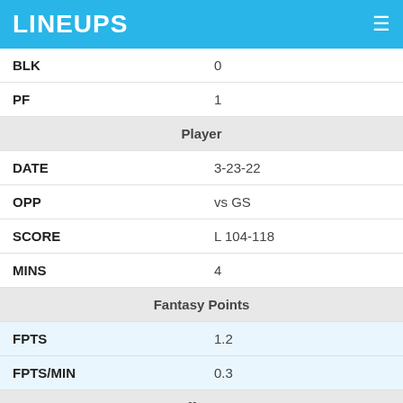LINEUPS
| BLK | 0 |
| PF | 1 |
| Player |  |
| DATE | 3-23-22 |
| OPP | vs GS |
| SCORE | L 104-118 |
| MINS | 4 |
| Fantasy Points |  |
| FPTS | 1.2 |
| FPTS/MIN | 0.3 |
| Offense |  |
| PTS | 0 |
| AST | 0 |